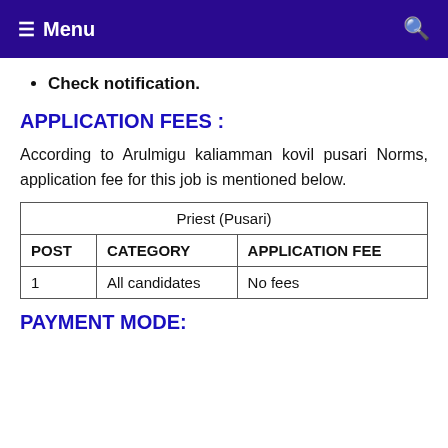Menu
Check notification.
APPLICATION FEES :
According to Arulmigu kaliamman kovil pusari Norms, application fee for this job is mentioned below.
| Priest (Pusari) |  |  |
| --- | --- | --- |
| POST | CATEGORY | APPLICATION FEE |
| 1 | All candidates | No fees |
PAYMENT MODE: